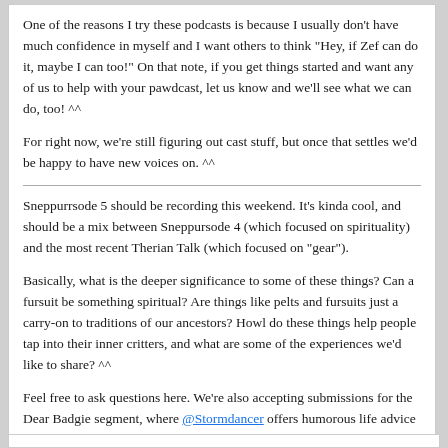One of the reasons I try these podcasts is because I usually don't have much confidence in myself and I want others to think "Hey, if Zef can do it, maybe I can too!" On that note, if you get things started and want any of us to help with your pawdcast, let us know and we'll see what we can do, too! ^^
For right now, we're still figuring out cast stuff, but once that settles we'd be happy to have new voices on. ^^
Sneppurrsode 5 should be recording this weekend. It's kinda cool, and should be a mix between Sneppursode 4 (which focused on spirituality) and the most recent Therian Talk (which focused on "gear").
Basically, what is the deeper significance to some of these things? Can a fursuit be something spiritual? Are things like pelts and fursuits just a carry-on to traditions of our ancestors? Howl do these things help people tap into their inner critters, and what are some of the experiences we'd like to share? ^^
Feel free to ask questions here. We're also accepting submissions for the Dear Badgie segment, where @Stormdancer offers humorous life advice related to questions about therianthropy.
Cheers!
- ZN